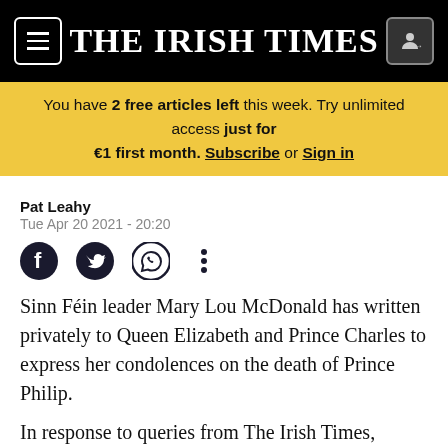THE IRISH TIMES
You have 2 free articles left this week. Try unlimited access just for €1 first month. Subscribe or Sign in
Pat Leahy
Tue Apr 20 2021 - 20:20
[Figure (other): Social sharing icons: Facebook, Twitter, WhatsApp, and more options (three dots)]
Sinn Féin leader Mary Lou McDonald has written privately to Queen Elizabeth and Prince Charles to express her condolences on the death of Prince Philip.
In response to queries from The Irish Times,